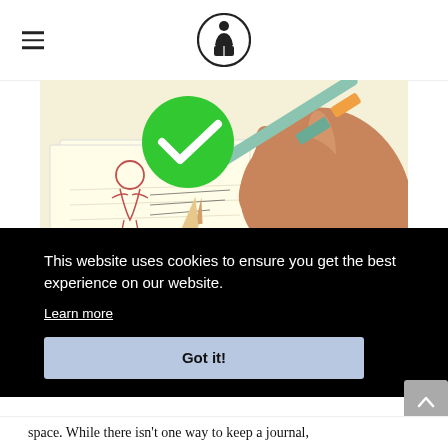[logo: person reading icon]
[Figure (illustration): Illustration of a hand holding a pencil/pen writing or drawing in a journal/sketchbook, with a green checkmark circle overlay in the upper left of the image. The sketchbook shows a rough drawing of a figure.]
This website uses cookies to ensure you get the best experience on our website.
Learn more
Got it!
space. While there isn't one way to keep a journal,